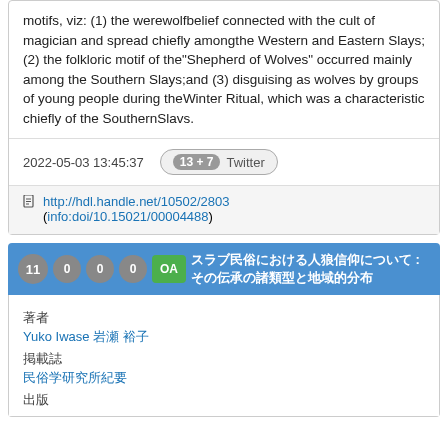motifs, viz: (1) the werewolfbelief connected with the cult of magician and spread chiefly amongthe Western and Eastern Slays; (2) the folkloric motif of the"Shepherd of Wolves" occurred mainly among the Southern Slays;and (3) disguising as wolves by groups of young people during theWinter Ritual, which was a characteristic chiefly of the SouthernSlavs.
2022-05-03 13:45:37
13 + 7  Twitter
http://hdl.handle.net/10502/2803 (info:doi/10.15021/00004488)
11  0  0  0  OA  [Japanese title text]  [Japanese subtitle text]
著者
Yuko Iwase 岩瀬 裕子
掲載誌
民俗学研究所紀要
出版